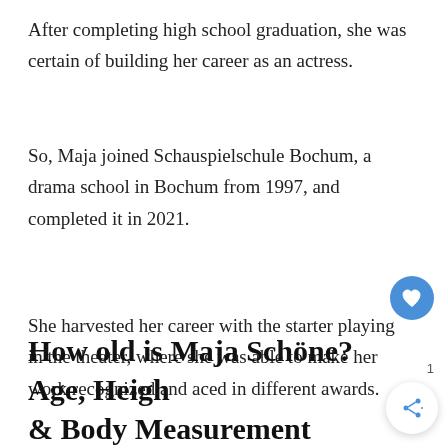After completing high school graduation, she was certain of building her career as an actress.
So, Maja joined Schauspielschule Bochum, a drama school in Bochum from 1997, and completed it in 2021.
She harvested her career with the starter playing in the theater, where she was able to make her work recognized and aced in different awards.
How old is Maja Schöne? Age, Height & Body Measurement